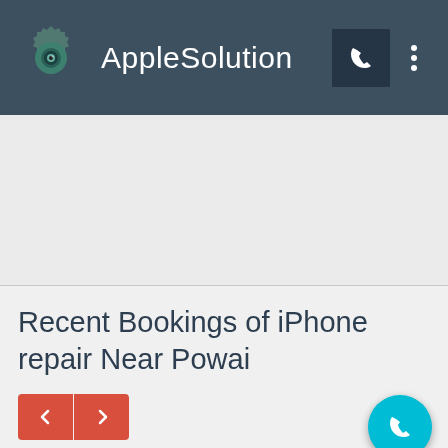AppleSolution
Recent Bookings of iPhone repair Near Powai
[Figure (screenshot): Navigation previous/next buttons in red]
iPhone Repair Powai